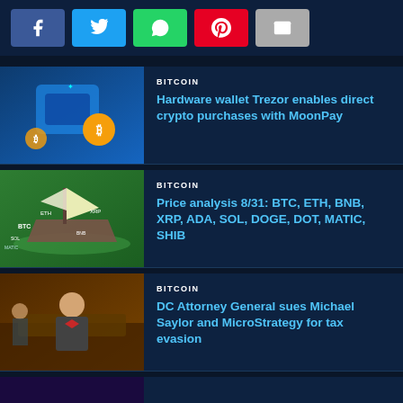[Figure (other): Social media share buttons: Facebook (blue), Twitter (light blue), WhatsApp (green), Pinterest (red), Email (gray)]
BITCOIN
Hardware wallet Trezor enables direct crypto purchases with MoonPay
BITCOIN
Price analysis 8/31: BTC, ETH, BNB, XRP, ADA, SOL, DOGE, DOT, MATIC, SHIB
BITCOIN
DC Attorney General sues Michael Saylor and MicroStrategy for tax evasion